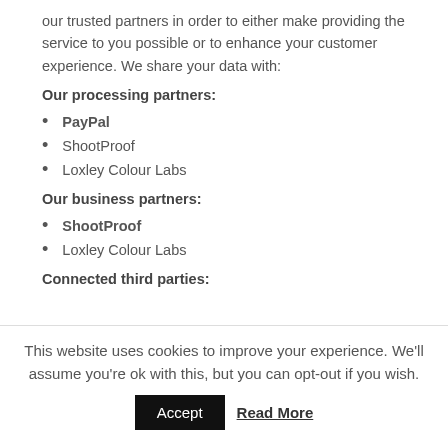our trusted partners in order to either make providing the service to you possible or to enhance your customer experience. We share your data with:
Our processing partners:
PayPal
ShootProof
Loxley Colour Labs
Our business partners:
ShootProof
Loxley Colour Labs
Connected third parties:
This website uses cookies to improve your experience. We'll assume you're ok with this, but you can opt-out if you wish.
Accept   Read More